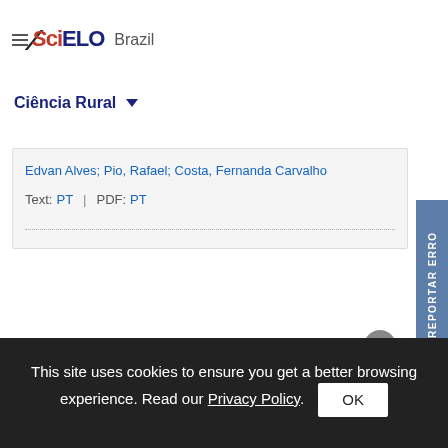SciELO Brazil
Ciência Rural
Edvan Alves; Pio, Rafael; Costa, Fernanda Carvalho
Text: PT | PDF: PT
Universidade Federal de Santa Maria
Universidade Federal de Santa Maria, Centro de Ciências R
This site uses cookies to ensure you get a better browsing experience. Read our Privacy Policy.